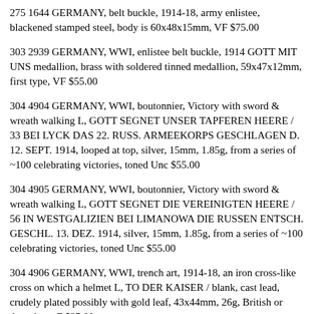275 1644 GERMANY, belt buckle, 1914-18, army enlistee, blackened stamped steel, body is 60x48x15mm, VF $75.00
303 2939 GERMANY, WWI, enlistee belt buckle, 1914 GOTT MIT UNS medallion, brass with soldered tinned medallion, 59x47x12mm, first type, VF $55.00
304 4904 GERMANY, WWI, boutonnier, Victory with sword & wreath walking L, GOTT SEGNET UNSER TAPFEREN HEERE / 33 BEI LYCK DAS 22. RUSS. ARMEEKORPS GESCHLAGEN D. 12. SEPT. 1914, looped at top, silver, 15mm, 1.85g, from a series of ~100 celebrating victories, toned Unc $55.00
304 4905 GERMANY, WWI, boutonnier, Victory with sword & wreath walking L, GOTT SEGNET DIE VEREINIGTEN HEERE / 56 IN WESTGALIZIEN BEI LIMANOWA DIE RUSSEN ENTSCH. GESCHL. 13. DEZ. 1914, silver, 15mm, 1.85g, from a series of ~100 celebrating victories, toned Unc $55.00
304 4906 GERMANY, WWI, trench art, 1914-18, an iron cross-like cross on which a helmet L, TO DER KAISER / blank, cast lead, crudely plated possibly with gold leaf, 43x44mm, 26g, British or American, F $35.00
210211 1465 GERMANY, bond, 1922, German Government bond for 5000 mark, red-brown on green, Germania in niche on left